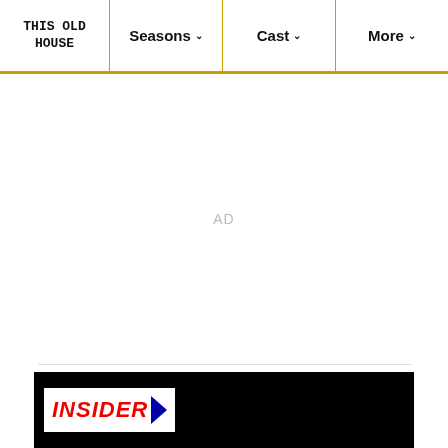THIS OLD HOUSE | Seasons ∨ | Cast ∨ | More ∨
AD
[Figure (screenshot): Black banner with INSIDER logo (red bold italic text with blue arrow) at the bottom of the page]